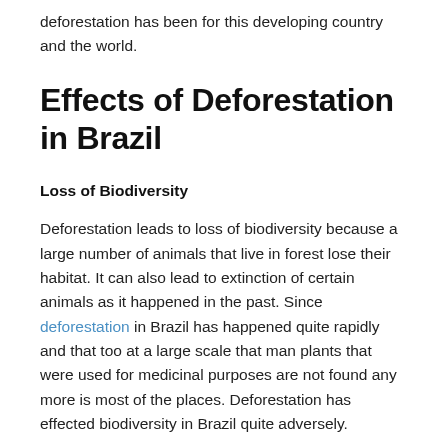deforestation has been for this developing country and the world.
Effects of Deforestation in Brazil
Loss of Biodiversity
Deforestation leads to loss of biodiversity because a large number of animals that live in forest lose their habitat. It can also lead to extinction of certain animals as it happened in the past. Since deforestation in Brazil has happened quite rapidly and that too at a large scale that man plants that were used for medicinal purposes are not found any more is most of the places. Deforestation has effected biodiversity in Brazil quite adversely.